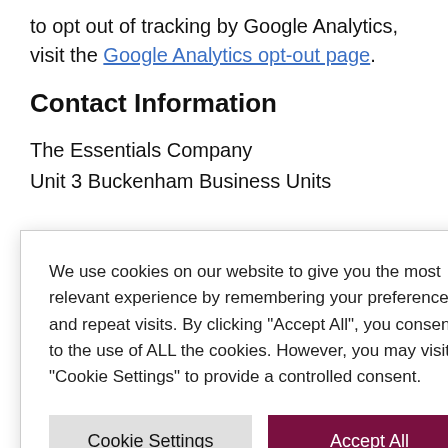to opt out of tracking by Google Analytics, visit the Google Analytics opt-out page.
Contact Information
The Essentials Company
Unit 3 Buckenham Business Units
We use cookies on our website to give you the most relevant experience by remembering your preferences and repeat visits. By clicking “Accept All”, you consent to the use of ALL the cookies. However, you may visit “Cookie Settings” to provide a controlled consent.
Cookie Settings  Accept All
icy
nge to this
Privacy Policy.